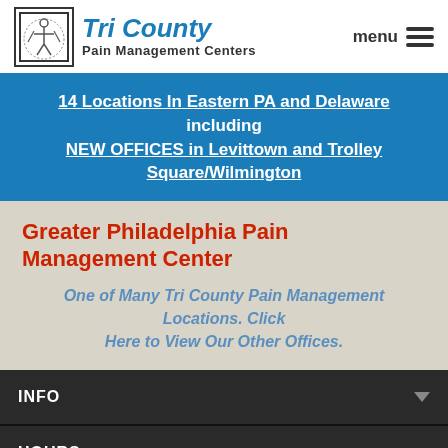Tri County Pain Management Centers
14 Locations In Eastern PA and Delaware including NEW OFFICES in Levittown and Trolley Square/Wilmington
Greater Philadelphia Pain Management Center
One of Many Tri County Pain Management Locations. Click Here to View Our Other Offices.
INFO
HOURS
MAP
DOCTORS
PATIENT REVIEWS